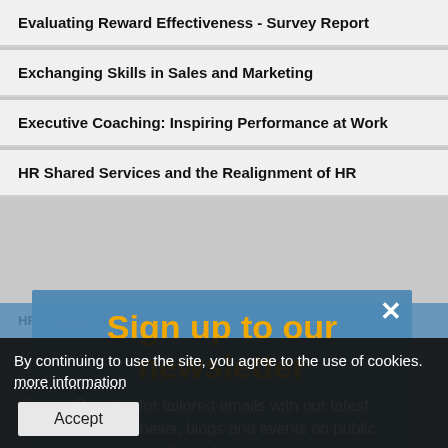Evaluating Reward Effectiveness - Survey Report
Exchanging Skills in Sales and Marketing
Executive Coaching: Inspiring Performance at Work
HR Shared Services and the Realignment of HR
HR in a disordered world
How Employers Manage Absence
Human B... ...on
Is Flatter Better? Delayering the management hierarchy
Learning from Cross-functional Teamwork
Measuring and Monitoring Absence from Work
[Figure (screenshot): Newsletter sign-up modal overlay on blue background with close X button. Title: 'Sign up to our newsletter'. Body text: 'Register for tailored emails with our latest research, news, blogs and events on public employment policy or human resources topics.' Sign up now link at bottom.]
By continuing to use the site, you agree to the use of cookies. more information
Accept
Skill Needs in Electronics